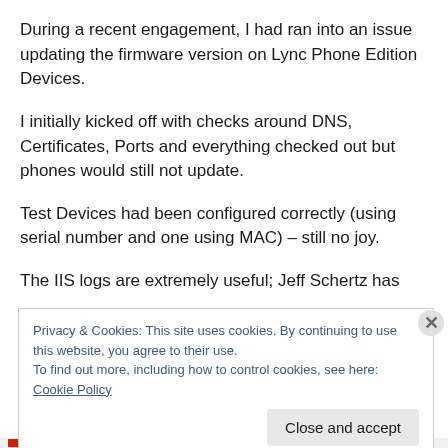During a recent engagement, I had ran into an issue updating the firmware version on Lync Phone Edition Devices.
I initially kicked off with checks around DNS, Certificates, Ports and everything checked out but phones would still not update.
Test Devices had been configured correctly (using serial number and one using MAC) – still no joy.
The IIS logs are extremely useful; Jeff Schertz has
Privacy & Cookies: This site uses cookies. By continuing to use this website, you agree to their use.
To find out more, including how to control cookies, see here: Cookie Policy
Close and accept